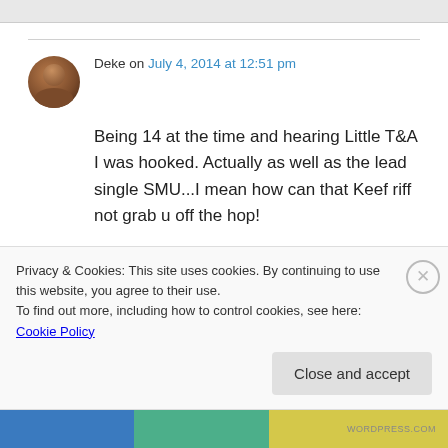Deke on July 4, 2014 at 12:51 pm
Being 14 at the time and hearing Little T&A I was hooked. Actually as well as the lead single SMU...I mean how can that Keef riff not grab u off the hop!
Privacy & Cookies: This site uses cookies. By continuing to use this website, you agree to their use.
To find out more, including how to control cookies, see here: Cookie Policy
Close and accept